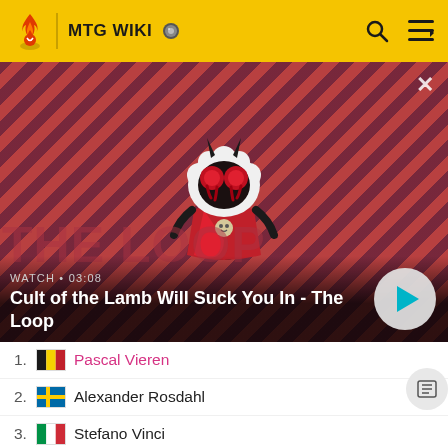MTG WIKI
[Figure (screenshot): Video thumbnail for 'Cult of the Lamb Will Suck You In - The Loop' showing an animated lamb character with devil horns on a red diagonal-striped background. Watch time 03:08.]
WATCH • 03:08
Cult of the Lamb Will Suck You In - The Loop
1. Pascal Vieren
2. Alexander Rosdahl
3. Stefano Vinci
4. Rob De Haan
5. Arne Huschenbeth